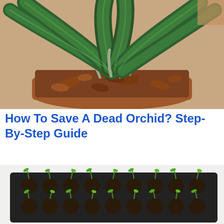[Figure (photo): Close-up photo of an orchid plant in a terracotta pot filled with bark/wood chip growing medium. The plant has large, broad dark green leaves spreading outward. Visible roots and brown bark chips fill the pot.]
How To Save A Dead Orchid? Step-By-Step Guide
[Figure (photo): Photo of a black seed tray containing many small round cells, each with dark soil and tiny green seedling sprouts emerging. Multiple rows of young seedlings visible from a top-down angle.]